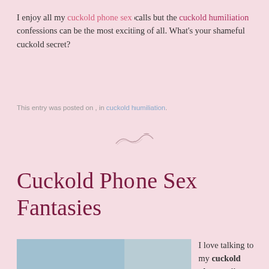I enjoy all my cuckold phone sex calls but the cuckold humiliation confessions can be the most exciting of all. What's your shameful cuckold secret?
This entry was posted on , in cuckold humiliation.
[Figure (illustration): Decorative swirl/tilde divider]
Cuckold Phone Sex Fantasies
[Figure (photo): Woman in pink bikini sitting by a pool on a lounge chair wearing sunglasses]
I love talking to my cuckold phone callers about